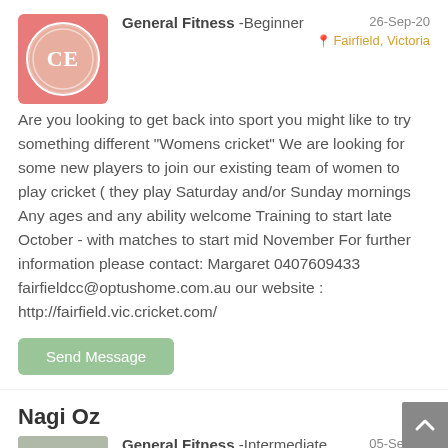[Figure (logo): Fairfield Cricket Club logo: circular white emblem with stylized CE letters on a pink/red background]
General Fitness -Beginner   26-Sep-20
Fairfield, Victoria
Are you looking to get back into sport you might like to try something different "Womens cricket" We are looking for some new players to join our existing team of women to play cricket ( they play Saturday and/or Sunday mornings Any ages and any ability welcome Training to start late October - with matches to start mid November For further information please contact: Margaret 0407609433 fairfieldcc@optushome.com.au our website : http://fairfield.vic.cricket.com/
Send Message
Nagi Oz
[Figure (photo): Outdoor photo showing trees, nature background, muted greens and grays]
General Fitness -Intermediate   05-Sep-20
Male, 47   Homebush West NSW 2129
Just want to enjoy playing golf midweek or weekend, been stuck in Australia since covid. Like to meet